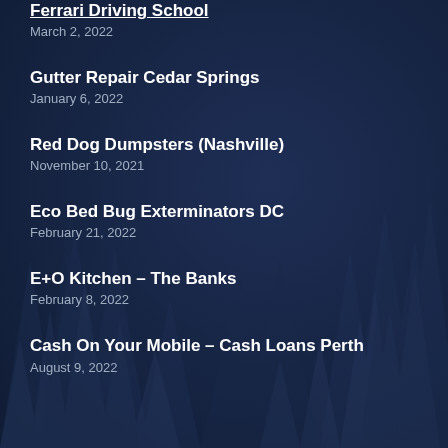Ferrari Driving School
March 2, 2022
Gutter Repair Cedar Springs
January 6, 2022
Red Dog Dumpsters (Nashville)
November 10, 2021
Eco Bed Bug Exterminators DC
February 21, 2022
E+O Kitchen – The Banks
February 8, 2022
Cash On Your Mobile – Cash Loans Perth
August 9, 2022